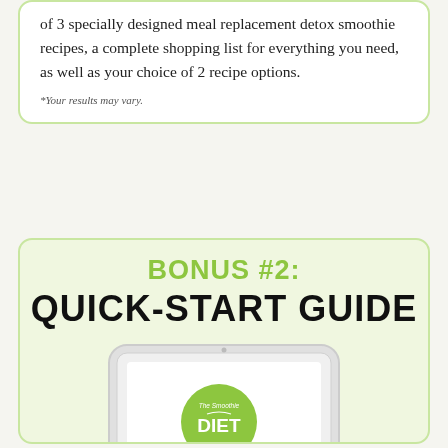of 3 specially designed meal replacement detox smoothie recipes, a complete shopping list for everything you need, as well as your choice of 2 recipe options.
*Your results may vary.
BONUS #2: QUICK-START GUIDE
[Figure (illustration): Tablet device showing The Smoothie Diet Quick Start guide cover with green circle logo and cursive 'Quick Start' text]